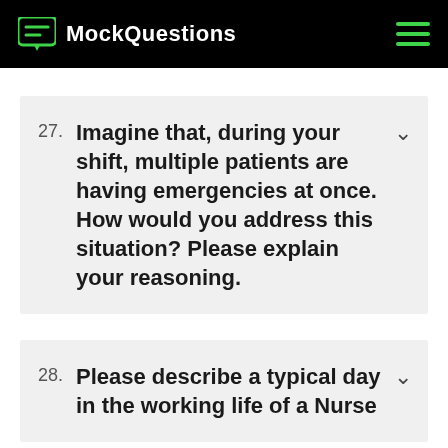MockQuestions
27. Imagine that, during your shift, multiple patients are having emergencies at once. How would you address this situation? Please explain your reasoning.
28. Please describe a typical day in the working life of a Nurse